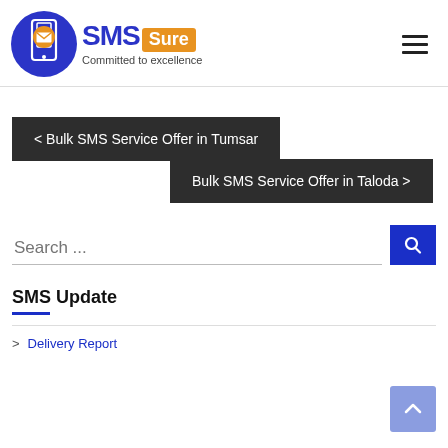[Figure (logo): SMSSure logo with blue circle containing phone and envelope icon, blue SMS text, orange Sure badge, tagline Committed to excellence]
< Bulk SMS Service Offer in Tumsar
Bulk SMS Service Offer in Taloda >
Search ...
SMS Update
> Delivery Report